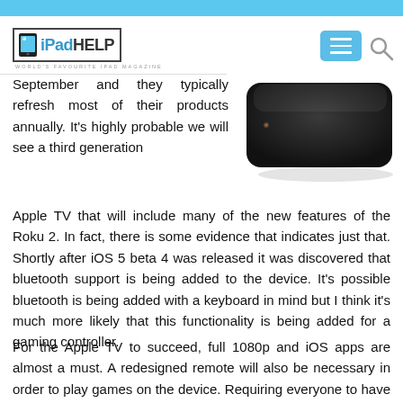iPadHELP - WORLD'S FAVOURITE IPAD MAGAZINE
[Figure (photo): Apple TV device - a small black rounded rectangular set-top box shown in partial view against white background]
September and they typically refresh most of their products annually. It's highly probable we will see a third generation Apple TV that will include many of the new features of the Roku 2. In fact, there is some evidence that indicates just that. Shortly after iOS 5 beta 4 was released it was discovered that bluetooth support is being added to the device. It's possible bluetooth is being added with a keyboard in mind but I think it's much more likely that this functionality is being added for a gaming controller.
For the Apple TV to succeed, full 1080p and iOS apps are almost a must. A redesigned remote will also be necessary in order to play games on the device. Requiring everyone to have an iPhone, iPad or iPod touch to control the device would not be an ideal solution nor would they be an ideal